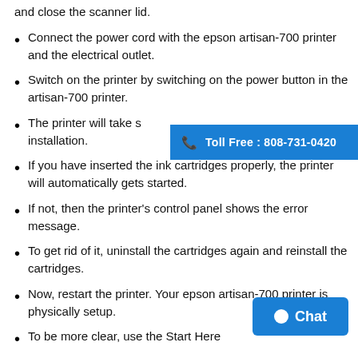and close the scanner lid.
Connect the power cord with the epson artisan-700 printer and the electrical outlet.
Switch on the printer by switching on the power button in the artisan-700 printer.
The printer will take s… installation.
[Figure (infographic): Blue banner with phone icon and text: Toll Free : 808-731-0420]
If you have inserted the ink cartridges properly, the printer will automatically gets started.
If not, then the printer's control panel shows the error message.
To get rid of it, uninstall the cartridges again and reinstall the cartridges.
Now, restart the printer. Your epson artisan-700 printer is physically setup.
[Figure (infographic): Blue rounded button with circle icon and text: Chat]
To be more clear, use the Start Here…